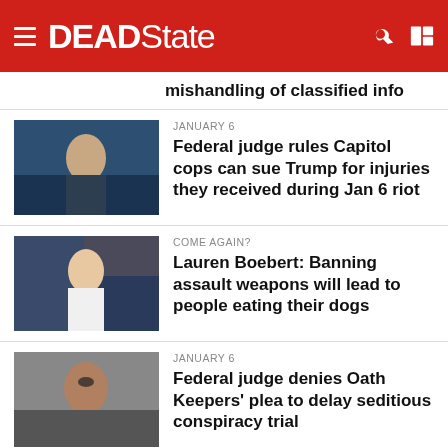DEADState
mishandling of classified info
JANUARY 6 — Federal judge rules Capitol cops can sue Trump for injuries they received during Jan 6 riot
COME AGAIN? — Lauren Boebert: Banning assault weapons will lead to people eating their dogs
JANUARY 6 — Federal judge denies Oath Keepers' plea to delay seditious conspiracy trial
ELECTIONS — Man who pointed rifle at BLM marchers gets crushed in GOP primary